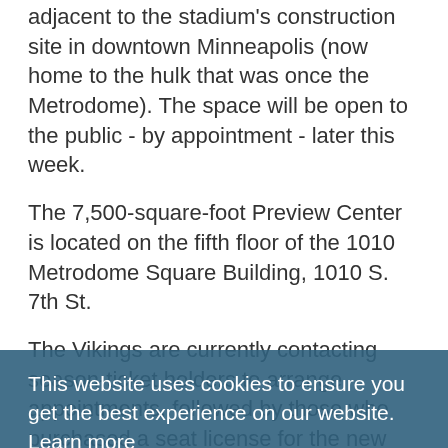adjacent to the stadium's construction site in downtown Minneapolis (now home to the hulk that was once the Metrodome). The space will be open to the public - by appointment - later this week.
The 7,500-square-foot Preview Center is located on the fifth floor of the 1010 Metrodome Square Building, 1010 S. 7th St.
The Vikings are currently contacting season-ticket holders to arrange appointments, followed by those who purchased a seat license for the new season tickets. Fans can join a waitlist or track details on the stadium website, www.newminnesotastadium.com.
[Figure (screenshot): Cookie consent banner overlay with dark teal/blue background. Text reads: 'This website uses cookies to ensure you get the best experience on our website.' with a 'Learn more' underlined link. Below is a bright cyan 'Got it!' button.]
The interactive space is the largest ever built by an NFL team, according to the Vikings. It overlooks the